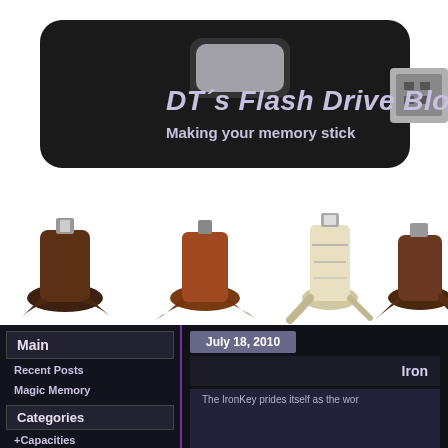[Figure (screenshot): Website header banner showing a black USB flash drive on white background with blog title text overlay]
DT´s Flash Drive Blog
Making your memory stick
[Figure (photo): Product row showing five wooden tree-stump shaped USB flash drives in different wood varieties and styles]
Main
Recent Posts
Magic Memory
Categories
+Capacities
July 18, 2010
Iron
The IronKey prides itself as the wor